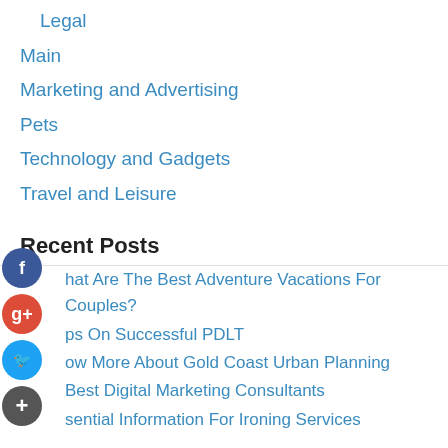Legal
Main
Marketing and Advertising
Pets
Technology and Gadgets
Travel and Leisure
Recent Posts
What Are The Best Adventure Vacations For Couples?
Tips On Successful PDLT
Know More About Gold Coast Urban Planning
Best Digital Marketing Consultants
Essential Information For Ironing Services
Ponmudi Eco-tourism | KTDC Golden Peak